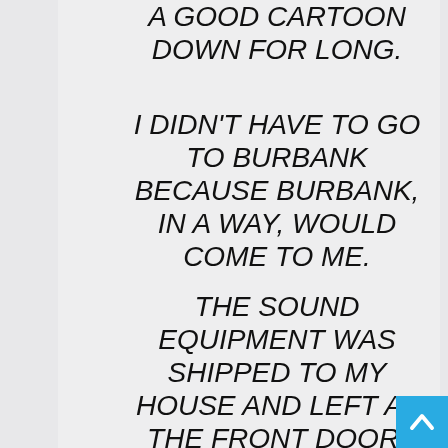A GOOD CARTOON DOWN FOR LONG.
I DIDN'T HAVE TO GO TO BURBANK BECAUSE BURBANK, IN A WAY, WOULD COME TO ME.
THE SOUND EQUIPMENT WAS SHIPPED TO MY HOUSE AND LEFT AT THE FRONT DOOR. NOEL AND I BROUGHT IT INSIDE,